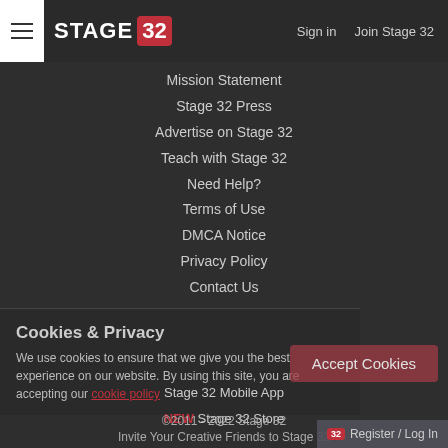STAGE 32 | Sign in  Join Stage 32
Mission Statement
Stage 32 Press
Advertise on Stage 32
Teach with Stage 32
Need Help?
Terms of Use
DMCA Notice
Privacy Policy
Contact Us
Cookies & Privacy
We use cookies to ensure that we give you the best experience on our website. By using this site, you are accepting our cookie policy
Stage 32 Mobile App
NEW Stage 32 Store
Accept Cookies
©2011 - 2022 Stage 32
Invite Your Creative Friends to Stage 32
Register / Log In